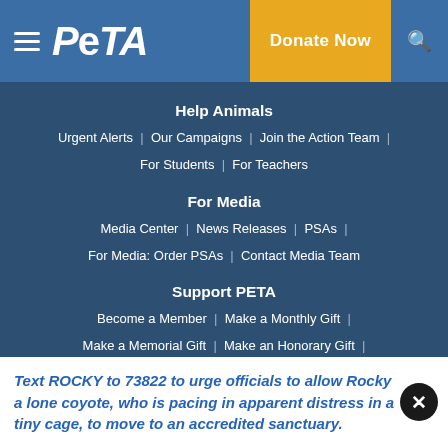PETA — Donate Now
Help Animals
Urgent Alerts | Our Campaigns | Join the Action Team | For Students | For Teachers
For Media
Media Center | News Releases | PSAs | For Media: Order PSAs | Contact Media Team
Support PETA
Become a Member | Make a Monthly Gift | Make a Memorial Gift | Make an Honorary Gift |
Text ROCKY to 73822 to urge officials to allow Rocky a lone coyote, who is pacing in apparent distress in a tiny cage, to move to an accredited sanctuary.